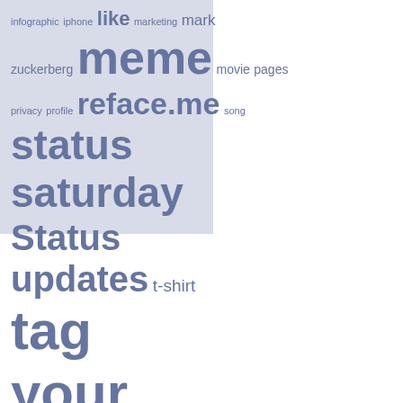[Figure (infographic): Word cloud / tag cloud on a light blue-grey background featuring social media and Facebook-related terms in varying font sizes proportional to frequency. Terms include: infographic, iphone, like, marketing, mark, zuckerberg, meme, movie, pages, privacy, profile, reface.me, song, status, saturday, Status updates, t-shirt, tag your friends, tweet, twitter, tuesday, udfd, upside down, Video.]